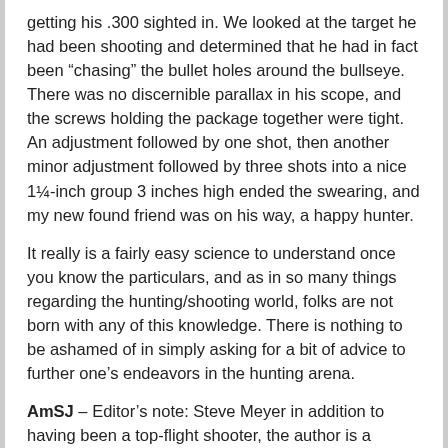getting his .300 sighted in. We looked at the target he had been shooting and determined that he had in fact been "chasing" the bullet holes around the bullseye. There was no discernible parallax in his scope, and the screws holding the package together were tight. An adjustment followed by one shot, then another minor adjustment followed by three shots into a nice 1¼-inch group 3 inches high ended the swearing, and my new found friend was on his way, a happy hunter.
It really is a fairly easy science to understand once you know the particulars, and as in so many things regarding the hunting/shooting world, folks are not born with any of this knowledge. There is nothing to be ashamed of in simply asking for a bit of advice to further one's endeavors in the hunting arena.
AmSJ – Editor's note: Steve Meyer in addition to having been a top-flight shooter, the author is a retired